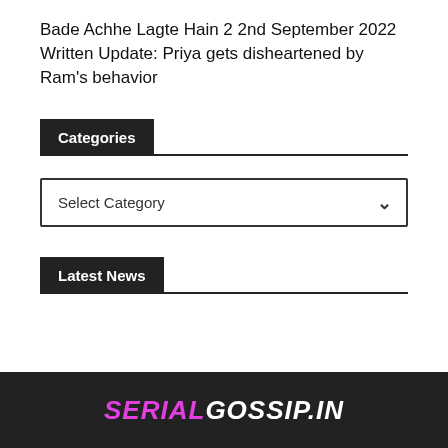Bade Achhe Lagte Hain 2 2nd September 2022 Written Update: Priya gets disheartened by Ram's behavior
Categories
Select Category
Latest News
SERIALGOSSIP.IN